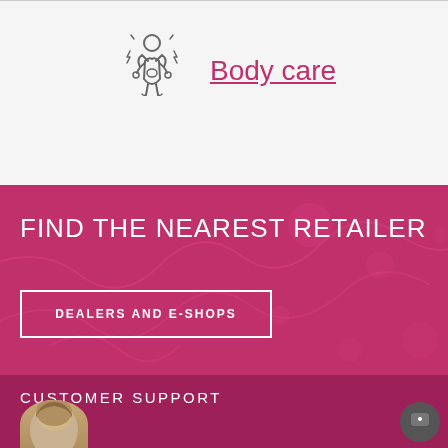[Figure (illustration): Outline icon of a person holding their stomach with lightning bolt stress lines around them, in gray/dark gray color]
Body care
FIND THE NEAREST RETAILER
DEALERS AND E-SHOPS
CUSTOMER SUPPORT
[Figure (photo): Partial photo of a person's head at bottom of page]
[Figure (illustration): Chat bubble icon - dark circle with white dot, bottom right corner]